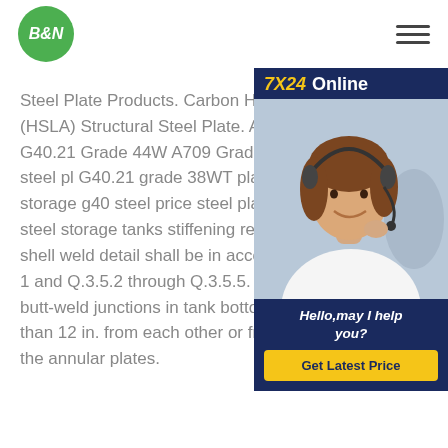B&N
[Figure (infographic): 7X24 Online chat widget with customer service representative photo and 'Hello, may I help you?' message and 'Get Latest Price' button]
Steel Plate Products. Carbon High Strength Low Alloy (HSLA) Structural Steel Plate. A3 42, 50, 60, 65; CSA G40.21 Grade 44W A709 Grade 36 g40 steel price steel pl G40.21 grade 38WT plates API 650 ca storage g40 steel price steel plate price 650 carbon steel storage tanks stiffening required, the stiffener-to-shell weld det accordance with Figure Q-1 and Q.3.5.2 through Q.3.5.5. Three-plate laps or butt-weld junctions in tank bottoms shall be not closer than 12 in. from each other or from the butt-welds of the annular plates.